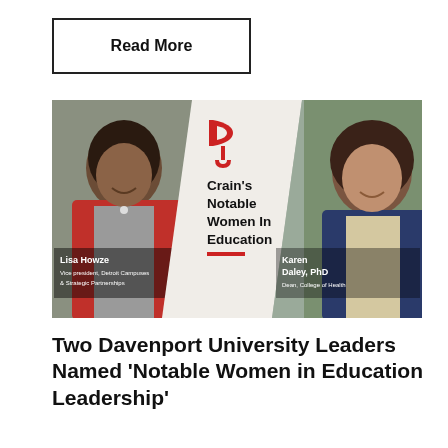Read More
[Figure (photo): Promotional image for Crain's Notable Women In Education featuring Lisa Howze (Vice president, Detroit Campuses & Strategic Partnerships) on the left and Karen Daley, PhD (Dean, College of Health) on the right, with the Davenport University logo and text 'Crain's Notable Women In Education' in the center.]
Two Davenport University Leaders Named ‘Notable Women in Education Leadership’